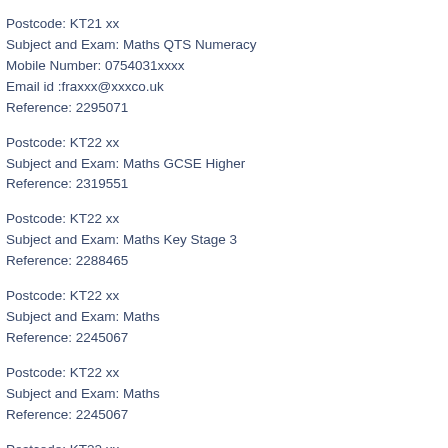Postcode: KT21 xx
Subject and Exam: Maths QTS Numeracy
Mobile Number: 0754031xxxx
Email id :fraxxx@xxxco.uk
Reference: 2295071
Postcode: KT22 xx
Subject and Exam: Maths GCSE Higher
Reference: 2319551
Postcode: KT22 xx
Subject and Exam: Maths Key Stage 3
Reference: 2288465
Postcode: KT22 xx
Subject and Exam: Maths
Reference: 2245067
Postcode: KT22 xx
Subject and Exam: Maths
Reference: 2245067
Postcode: KT22 xx
Subject and Exam: Maths